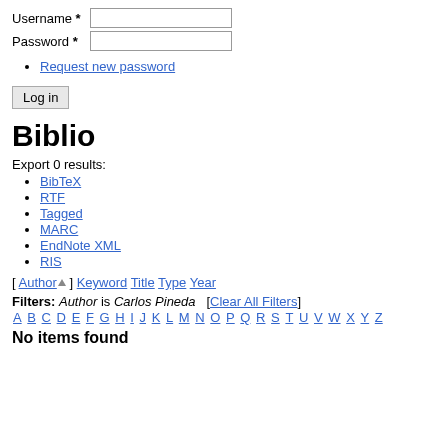Username *
Password *
Request new password
Log in
Biblio
Export 0 results:
BibTeX
RTF
Tagged
MARC
EndNote XML
RIS
[ Author ▲ ] Keyword Title Type Year
Filters: Author is Carlos Pineda  [Clear All Filters]
A B C D E F G H I J K L M N O P Q R S T U V W X Y Z
No items found